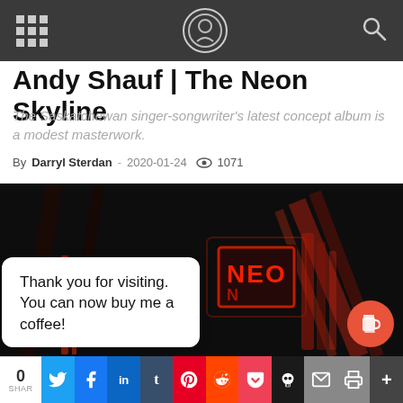Andy Shauf | The Neon Skyline
Andy Shauf | The Neon Skyline
The Saskatchewan singer-songwriter's latest concept album is a modest masterwork.
By Darryl Sterdan - 2020-01-24  1071
[Figure (photo): Dark background photo of neon sign glowing red, spelling NEON with blurred light streaks]
Thank you for visiting. You can now buy me a coffee!